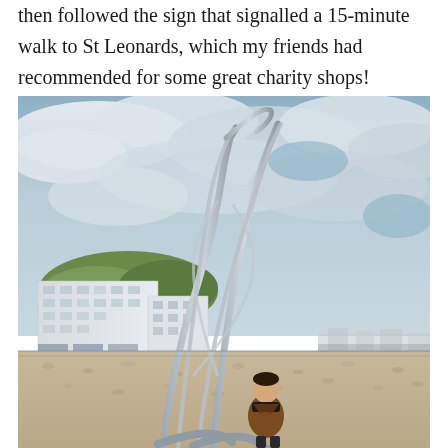then followed the sign that signalled a 15-minute walk to St Leonards, which my friends had recommended for some great charity shops!
[Figure (photo): A person standing in front of a large modern stainless steel sculpture on a pebble beach. The sculpture is tall and twisting, resembling a wave or flame shape. In the background are white multi-storey buildings on a hillside, and an overcast sky with blue patches. The person is wearing a brown jacket and black scarf.]